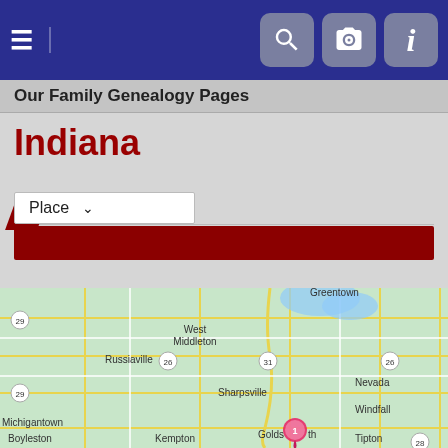Navigation bar with menu, search, camera, and info icons
Our Family Genealogy Pages
Indiana
[Figure (screenshot): Place dropdown selector tab with red background accent and dark red bar below]
[Figure (map): Google-style road map of Indiana showing towns including West Middleton, Russiaville, Sharpsville, Nevada, Windfall, Michigantown, Boyleston, Kempton, Goldsmith, Tipton, and highway markers 26, 28, 29, 31. A pink marker labeled 1 is placed near Goldsmith.]